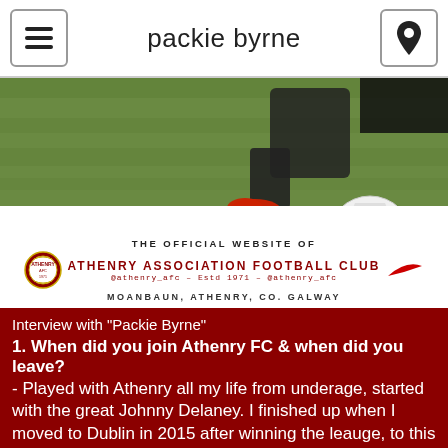packie byrne
[Figure (illustration): Banner for Athenry Association Football Club official website. Shows a football player kicking a ball on grass. White overlay at bottom reads: THE OFFICIAL WEBSITE OF / ATHENRY ASSOCIATION FOOTBALL CLUB / @athenry_afc - Estd 1971 - @athenry_afc / MOANBAUN, ATHENRY, CO. GALWAY. Club badge on left, Nike swoosh on right.]
Interview with "Packie Byrne"
1. When did you join Athenry FC & when did you leave?
- Played with Athenry all my life from underage, started with the great Johnny Delaney. I finished up when I moved to Dublin in 2015 after winning the leauge, to this day I really miss it.
2. Who was the biggest influence on you?
- Would have to be Peter Gilhooley, he managed me from U13 onwards and I wasn't easy to deal with. Himself and Tommy Fahy are legend. Looking back now they would have had a massive influence